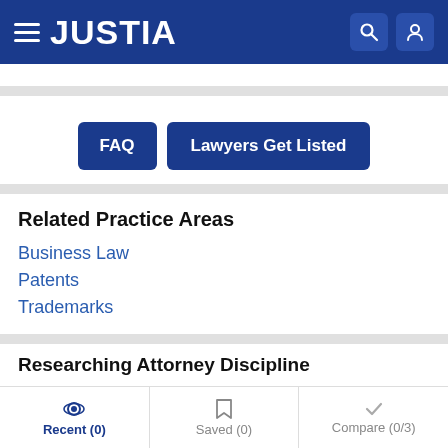JUSTIA
FAQ  Lawyers Get Listed
Related Practice Areas
Business Law
Patents
Trademarks
Researching Attorney Discipline
Recent (0)  Saved (0)  Compare (0/3)